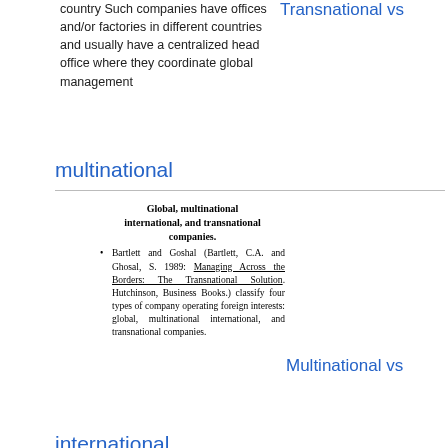country Such companies have offices and/or factories in different countries and usually have a centralized head office where they coordinate global management
multinational
[Figure (screenshot): Scanned document excerpt showing title 'Global, multinational international, and transnational companies.' and a bullet point referencing Bartlett and Goshal (1989) Managing Across the Borders: The Transnational Solution, classifying four types of company operating foreign interests: global, multinational international, and transnational companies.]
Multinational vs
international
Corporations and Trusts Law Chapter 7
Share Capital and Fundraising
Chapter 7 corporations
[Figure (logo): LearnNow logo at bottom left with navigation elements]